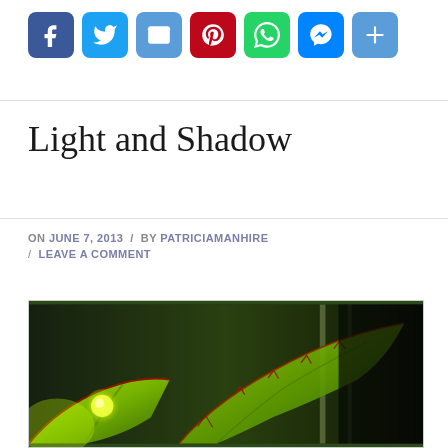[Figure (other): Social media share buttons row: Facebook (blue), Twitter (blue), Email (blue), Pinterest (red), WhatsApp (green), Messenger (blue), Plus/More (blue)]
Light and Shadow
ON JUNE 7, 2013 / BY PATRICIAMANHIRE / LEAVE A COMMENT
[Figure (photo): Close-up macro photograph of a green plant (appears to be a Venus flytrap or similar carnivorous plant) with glowing yellow-green light illuminating the edges of the leaves against a dark background.]